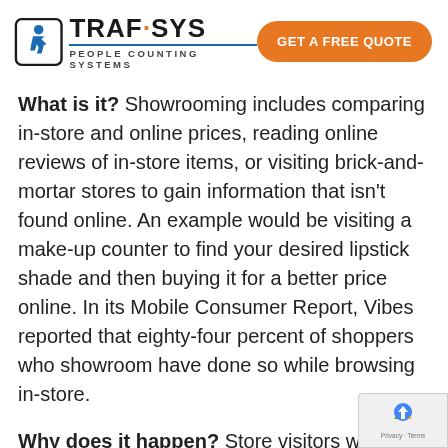[Figure (logo): Traf-Sys People Counting Systems logo with a walking person icon and orange GET A FREE QUOTE button]
What is it? Showrooming includes comparing in-store and online prices, reading online reviews of in-store items, or visiting brick-and-mortar stores to gain information that isn't found online. An example would be visiting a make-up counter to find your desired lipstick shade and then buying it for a better price online. In its Mobile Consumer Report, Vibes reported that eighty-four percent of shoppers who showroom have done so while browsing in-store.
Why does it happen? Store visitors who showroom are attempting to save themselves time and m... They don't want to manually and aimlessly so...